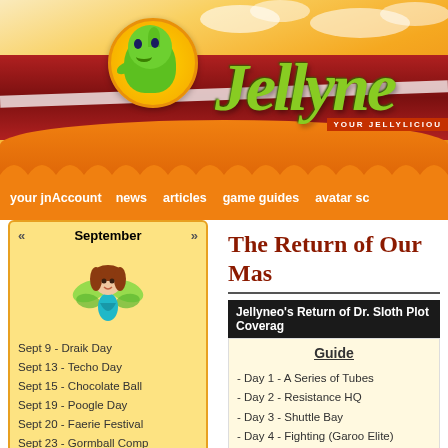[Figure (illustration): Jellyneo website header banner with orange/yellow gradient background, red stripe, green mascot character (Neopets-style creature) in gold circle, green italic 'Jellyneo' logo text, tagline 'YOUR JELLYLICIOUS']
your jnAccount | news | articles | game guides | avatar sc
September
[Figure (illustration): Fairy character with green wings, brown hair, teal dress]
Sept 9 - Draik Day
Sept 13 - Techo Day
Sept 15 - Chocolate Ball
Sept 19 - Poogle Day
Sept 20 - Faerie Festival
Sept 23 - Gormball Comp
Sept 25 - Skeith Day
jellyneo links
The Return of Our Mas
Jellyneo's Return of Dr. Sloth Plot Coverage
Guide
- Day 1 - A Series of Tubes
- Day 2 - Resistance HQ
- Day 3 - Shuttle Bay
- Day 4 - Fighting (Garoo Elite)
- Day 5 - Fighting (Minions)
- Day 6 - Fighting (Grundo)
- Day 7 - Testing Station